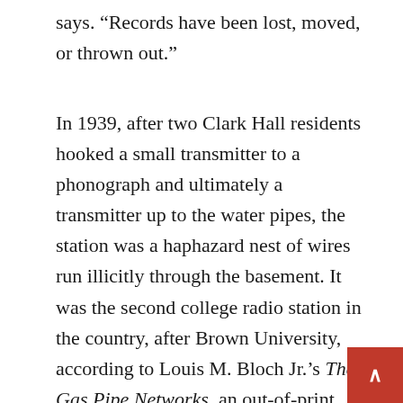says. “Records have been lost, moved, or thrown out.”
In 1939, after two Clark Hall residents hooked a small transmitter to a phonograph and ultimately a transmitter up to the water pipes, the station was a haphazard nest of wires run illicitly through the basement. It was the second college radio station in the country, after Brown University, according to Louis M. Bloch Jr.’s The Gas Pipe Networks, an out-of-print history of college radio from 1936-39. Bloch reported that WES, The Cardinal Network at Wesleyan, made its first broadcast on Nov. 9, 1939, with a daily alarm clock wake-up program from 7:30 a.m. to 8:30 a.m., and the daily Jive at Five, at 5 p.m., a program that continues to this day.